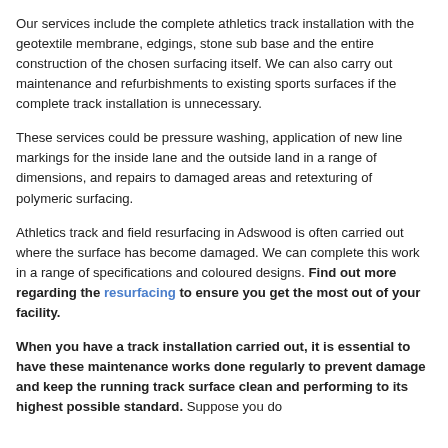Our services include the complete athletics track installation with the geotextile membrane, edgings, stone sub base and the entire construction of the chosen surfacing itself. We can also carry out maintenance and refurbishments to existing sports surfaces if the complete track installation is unnecessary.
These services could be pressure washing, application of new line markings for the inside lane and the outside land in a range of dimensions, and repairs to damaged areas and retexturing of polymeric surfacing.
Athletics track and field resurfacing in Adswood is often carried out where the surface has become damaged. We can complete this work in a range of specifications and coloured designs. Find out more regarding the resurfacing to ensure you get the most out of your facility.
When you have a track installation carried out, it is essential to have these maintenance works done regularly to prevent damage and keep the running track surface clean and performing to its highest possible standard. Suppose you do